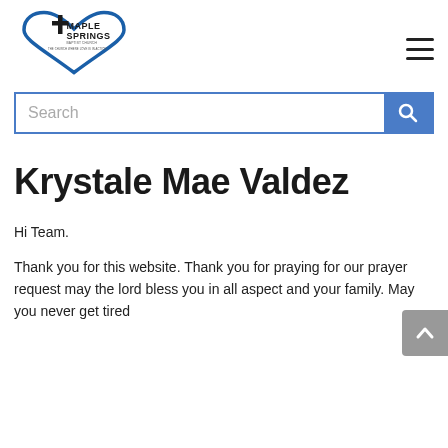[Figure (logo): Maple Springs Baptist Church logo — blue heart outline with cross and text 'MAPLE SPRINGS BAPTIST CHURCH — THE CHURCH WHERE LOVE IS IN ACTION']
[Figure (other): Hamburger menu icon (three horizontal lines)]
[Figure (other): Search bar with text field and blue search button with magnifying glass icon]
Krystale Mae Valdez
[Figure (other): Grey scroll-to-top button with upward chevron arrow]
Hi Team.
Thank you for this website. Thank you for praying for our prayer request may the lord bless you in all aspect and your family. May you never get tired